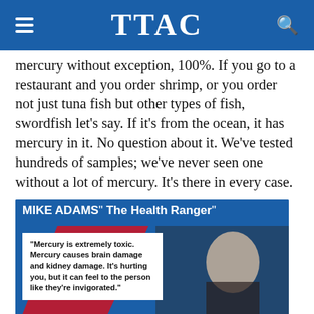TTAC
mercury without exception, 100%. If you go to a restaurant and you order shrimp, or you order not just tuna fish but other types of fish, swordfish let's say. If it's from the ocean, it has mercury in it. No question about it. We've tested hundreds of samples; we've never seen one without a lot of mercury. It's there in every case.
[Figure (infographic): Infographic featuring Mike Adams 'The Health Ranger' with a quote: 'Mercury is extremely toxic. Mercury causes brain damage and kidney damage. It's hurting you, but it can feel to the person like they're invigorated.' Blue background with a photo of a man in a suit and a white quote box.]